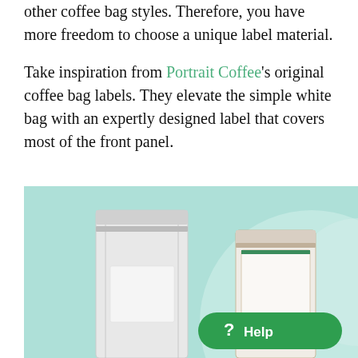other coffee bag styles. Therefore, you have more freedom to choose a unique label material.
Take inspiration from Portrait Coffee's original coffee bag labels. They elevate the simple white bag with an expertly designed label that covers most of the front panel.
[Figure (photo): Photo of two coffee bags against a light teal/mint background. A plain white coffee bag is on the left, and a Portrait Coffee branded bag with a label is on the right. A large light mint circle decoration appears on the right side. A green help button with '? Help' text is overlaid in the bottom right.]